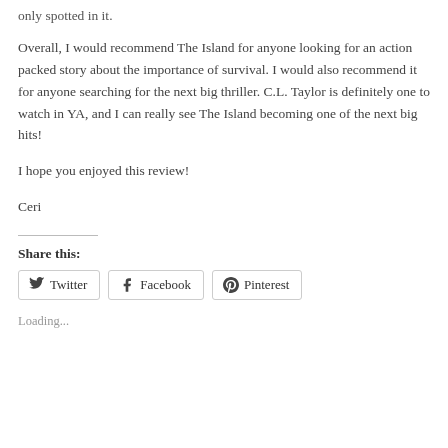only spotted in it.
Overall, I would recommend The Island for anyone looking for an action packed story about the importance of survival. I would also recommend it for anyone searching for the next big thriller. C.L. Taylor is definitely one to watch in YA, and I can really see The Island becoming one of the next big hits!
I hope you enjoyed this review!
Ceri
Share this:
Twitter  Facebook  Pinterest
Loading...